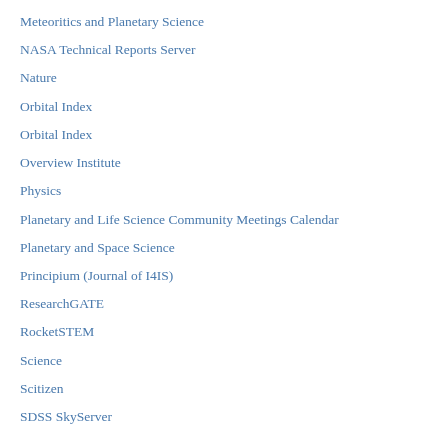Meteoritics and Planetary Science
NASA Technical Reports Server
Nature
Orbital Index
Orbital Index
Overview Institute
Physics
Planetary and Life Science Community Meetings Calendar
Planetary and Space Science
Principium (Journal of I4IS)
ResearchGATE
RocketSTEM
Science
Scitizen
SDSS SkyServer